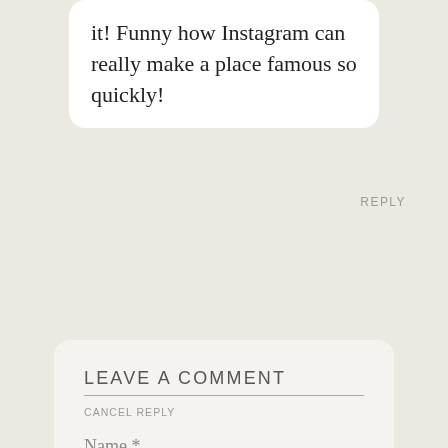it! Funny how Instagram can really make a place famous so quickly!
REPLY
LEAVE A COMMENT
CANCEL REPLY
Name *
Email *
Website